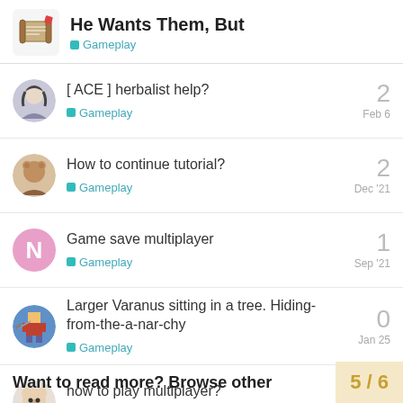He Wants Them, But — Gameplay
[ ACE ] herbalist help? · Gameplay · 2 · Feb 6
How to continue tutorial? · Gameplay · 2 · Dec '21
Game save multiplayer · Gameplay · 1 · Sep '21
Larger Varanus sitting in a tree. Hiding-from-the-a-nar-chy · Gameplay · 0 · Jan 25
how to play multiplayer? · Gameplay · 1 · Feb 9
Want to read more? Browse other
5 / 6